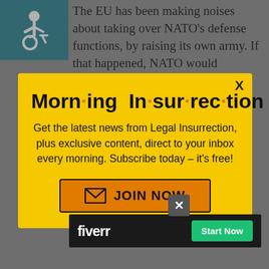[Figure (illustration): Wheelchair accessibility icon, white figure on teal/dark cyan background]
The EU has been making noises about taking over NATO's defense functions, by raising its own army. If that happened, NATO would definitely be weakened, if by nothing more than the
[Figure (infographic): Modal popup with yellow background. Title: 'Morn·ing In·sur·rec·tion' with orange dots between syllables. Body text: 'Get the latest news from Legal Insurrection, plus exclusive content, direct to your inbox every morning. Subscribe today – it's free!' Orange JOIN NOW button with envelope icon. X close button top right.]
defense spending (2% of GDP), considered by many to be required to maintain
[Figure (infographic): Fiverr advertisement bar: dark background with white Fiverr logo on left and green Start Now button on right. Small X close button above.]